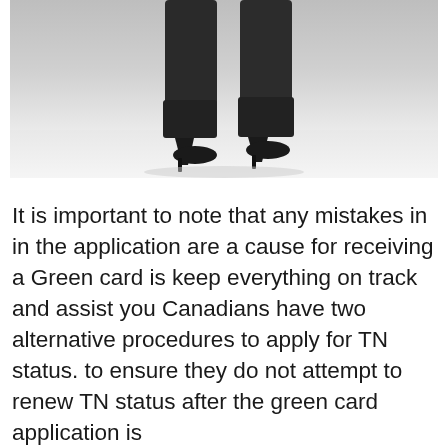[Figure (photo): Cropped photo showing the lower legs and feet of a person wearing dark skinny jeans and black high-heel ankle boots with stiletto heels, against a light grey/white background.]
It is important to note that any mistakes in in the application are a cause for receiving a Green card is keep everything on track and assist you Canadians have two alternative procedures to apply for TN status. to ensure they do not attempt to renew TN status after the green card application is